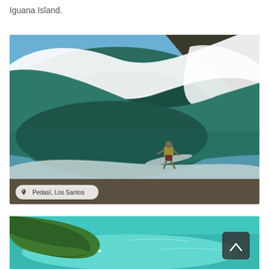Iguana Island.
[Figure (photo): A surfer riding inside a large barrel wave at Pedasí, Los Santos, with a location badge overlay showing the place name.]
[Figure (photo): Aerial view of a tropical coastline with turquoise water and green forested land, partially visible at the bottom of the page, with a scroll-up button overlay.]